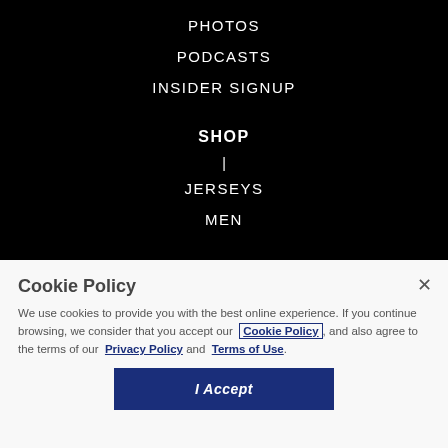PHOTOS
PODCASTS
INSIDER SIGNUP
SHOP
JERSEYS
MEN
Cookie Policy
We use cookies to provide you with the best online experience. If you continue browsing, we consider that you accept our Cookie Policy, and also agree to the terms of our Privacy Policy and Terms of Use.
I Accept